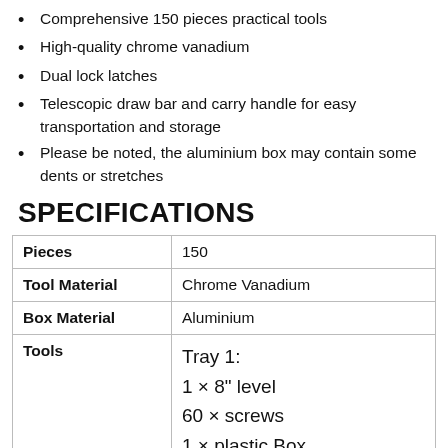Comprehensive 150 pieces practical tools
High-quality chrome vanadium
Dual lock latches
Telescopic draw bar and carry handle for easy transportation and storage
Please be noted, the aluminium box may contain some dents or stretches
SPECIFICATIONS
|  |  |
| --- | --- |
| Pieces | 150 |
| Tool Material | Chrome Vanadium |
| Box Material | Aluminium |
| Tools | Tray 1:
1 × 8" level
60 × screws
1 × plastic Box
1 × crimping tool
1 × 6" diagonal plier |